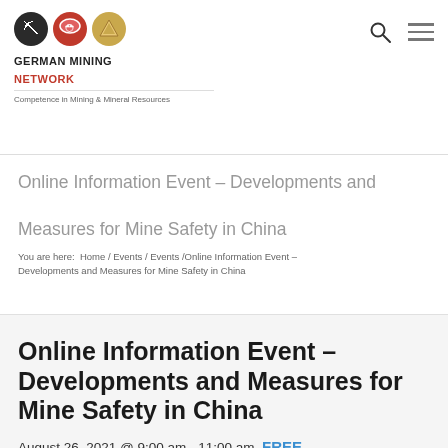GERMAN MINING NETWORK – Competence in Mining & Mineral Resources
Online Information Event – Developments and Measures for Mine Safety in China
You are here: Home / Events / Events / Online Information Event – Developments and Measures for Mine Safety in China
Online Information Event – Developments and Measures for Mine Safety in China
August 26, 2021 @ 9:00 am - 11:00 am  FREE
As the in-house training organization of the German...